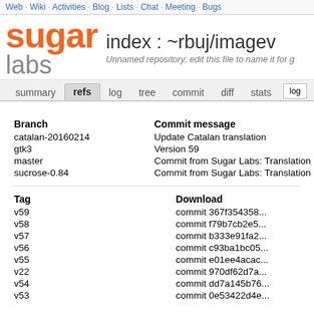Web · Wiki · Activities · Blog · Lists · Chat · Meeting · Bugs
sugar labs  index : ~rbuj/imagev
Unnamed repository; edit this file to name it for g
summary  refs  log  tree  commit  diff  stats  log
| Branch | Commit message |
| --- | --- |
| catalan-20160214 | Update Catalan translation |
| gtk3 | Version 59 |
| master | Commit from Sugar Labs: Translation System by |
| sucrose-0.84 | Commit from Sugar Labs: Translation System by |
| Tag | Download |
| --- | --- |
| v59 | commit 367f354358... |
| v58 | commit f79b7cb2e5... |
| v57 | commit b333e91fa2... |
| v56 | commit c93ba1bc05... |
| v55 | commit e01ee4acac... |
| v22 | commit 970df62d7a... |
| v54 | commit dd7a145b76... |
| v53 | commit 0e53422d4e... |